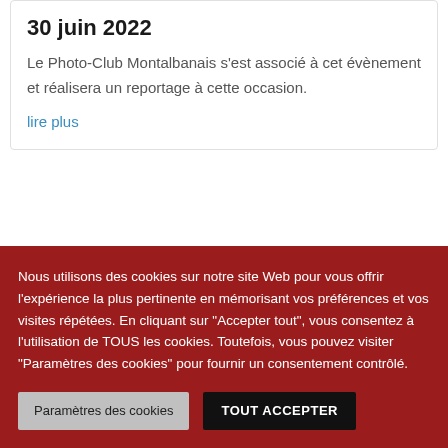30 juin 2022
Le Photo-Club Montalbanais s'est associé à cet évènement et réalisera un reportage à cette occasion.
lire plus
Nous utilisons des cookies sur notre site Web pour vous offrir l'expérience la plus pertinente en mémorisant vos préférences et vos visites répétées. En cliquant sur "Accepter tout", vous consentez à l'utilisation de TOUS les cookies. Toutefois, vous pouvez visiter "Paramètres des cookies" pour fournir un consentement contrôlé.